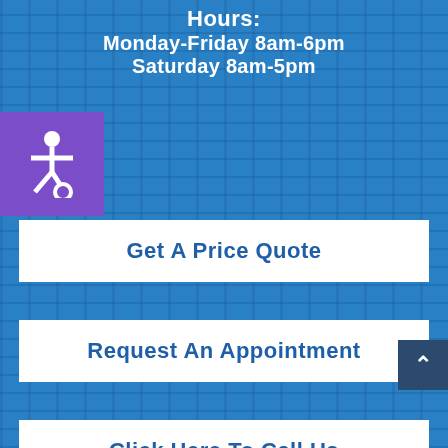Hours:
Monday-Friday 8am-6pm
Saturday 8am-5pm
Get A Price Quote
Request An Appointment
Click Here To Call Us
©2022 Chem-Dry of OKC/Edmond. Site Designed by Kite Media.